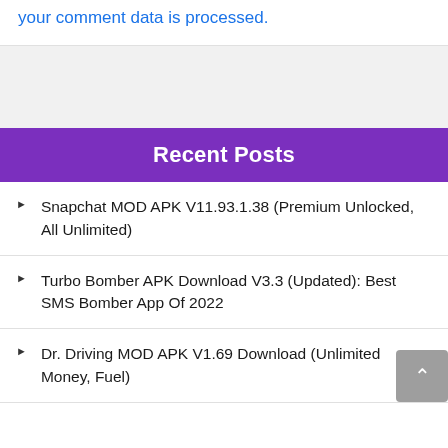This site uses Akismet to reduce spam. Learn how your comment data is processed.
Recent Posts
Snapchat MOD APK V11.93.1.38 (Premium Unlocked, All Unlimited)
Turbo Bomber APK Download V3.3 (Updated): Best SMS Bomber App Of 2022
Dr. Driving MOD APK V1.69 Download (Unlimited Money, Fuel)